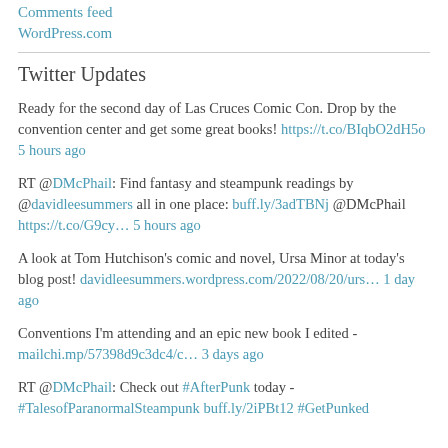Comments feed
WordPress.com
Twitter Updates
Ready for the second day of Las Cruces Comic Con. Drop by the convention center and get some great books! https://t.co/BIqbO2dH5o 5 hours ago
RT @DMcPhail: Find fantasy and steampunk readings by @davidleesummers all in one place: buff.ly/3adTBNj @DMcPhail https://t.co/G9cy… 5 hours ago
A look at Tom Hutchison's comic and novel, Ursa Minor at today's blog post! davidleesummers.wordpress.com/2022/08/20/urs… 1 day ago
Conventions I'm attending and an epic new book I edited - mailchi.mp/57398d9c3dc4/c… 3 days ago
RT @DMcPhail: Check out #AfterPunk today - #TalesofParanormalSteampunk buff.ly/2iPBt12 #GetPunked